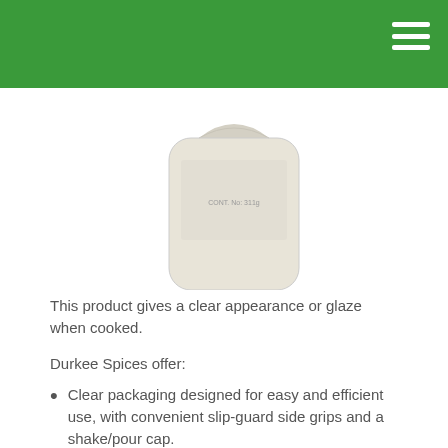[Figure (logo): Durkee brand logo — red shield shape with yellow wave border, white bold text 'Durkee', green leaves, registered trademark symbol, on green header bar. Below: back of a Durkee spice container (cream/beige rounded rectangular bottle), showing 'CONT. No: 311g' text.]
This product gives a clear appearance or glaze when cooked.
Durkee Spices offer:
Clear packaging designed for easy and efficient use, with convenient slip-guard side grips and a shake/pour cap.